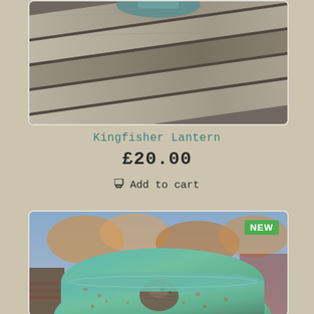[Figure (photo): Photo of a ceramic or pottery item (Kingfisher Lantern) placed on weathered wooden planks, viewed from above, showing teal/green glaze details]
Kingfisher Lantern
£20.00
Add to cart
[Figure (photo): Photo of a teal and green speckled ceramic pot/lantern with a sculpted bird (robin or wren) on the front, photographed outdoors with autumn trees in background. Has a NEW badge in top right corner.]